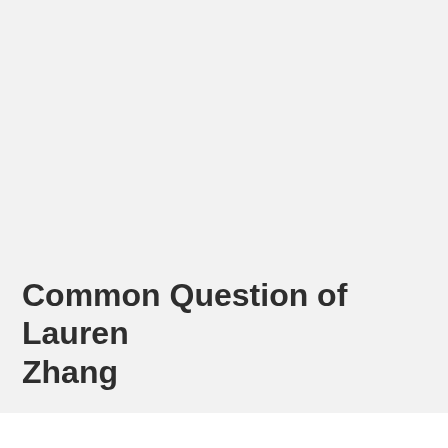Common Question of Lauren Zhang